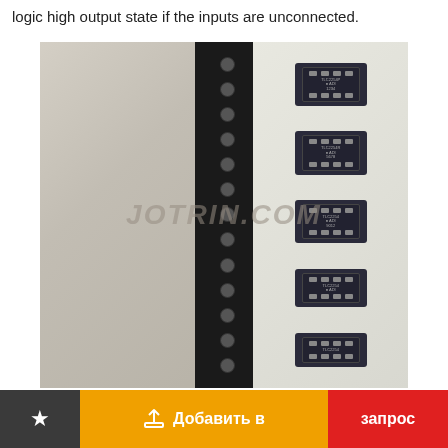logic high output state if the inputs are unconnected.
[Figure (photo): Photo of IC chips on a tape reel/strip (SMD SOIC-8 packages), with a watermark reading JOTRIN.COM. The strip shows multiple small black integrated circuit chips with visible metal pins, on a dark carrier tape with sprocket holes, against a light beige background.]
Добавить в
запрос